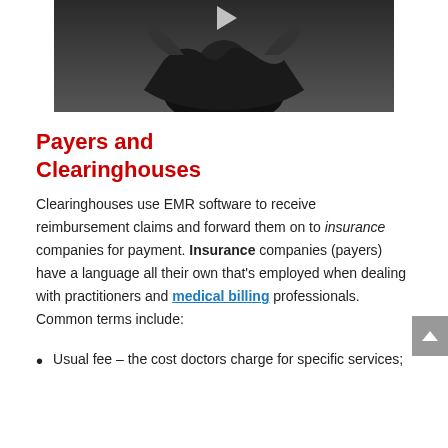[Figure (photo): Black and white photo of a person in a suit with hands raised, with a play button triangle overlay at top center]
Payers and Clearinghouses
Clearinghouses use EMR software to receive reimbursement claims and forward them on to insurance companies for payment. Insurance companies (payers) have a language all their own that's employed when dealing with practitioners and medical billing professionals. Common terms include:
Usual fee – the cost doctors charge for specific services;